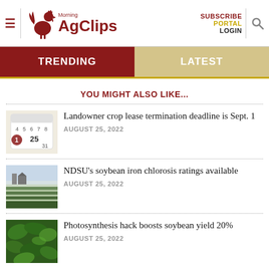Morning AgClips — SUBSCRIBE PORTAL LOGIN
TRENDING | LATEST
YOU MIGHT ALSO LIKE...
Landowner crop lease termination deadline is Sept. 1 — AUGUST 25, 2022
NDSU's soybean iron chlorosis ratings available — AUGUST 25, 2022
Photosynthesis hack boosts soybean yield 20% — AUGUST 25, 2022